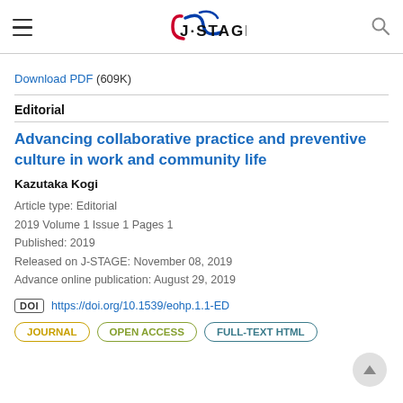J-STAGE
Download PDF (609K)
Editorial
Advancing collaborative practice and preventive culture in work and community life
Kazutaka Kogi
Article type: Editorial
2019 Volume 1 Issue 1 Pages 1
Published: 2019
Released on J-STAGE: November 08, 2019
Advance online publication: August 29, 2019
DOI https://doi.org/10.1539/eohp.1.1-ED
JOURNAL  OPEN ACCESS  FULL-TEXT HTML